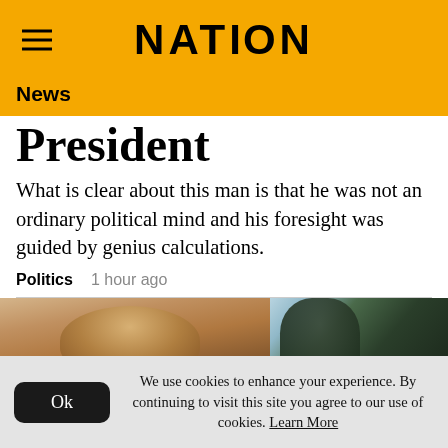NATION
News
President
What is clear about this man is that he was not an ordinary political mind and his foresight was guided by genius calculations.
Politics   1 hour ago
[Figure (photo): Two-panel photo strip: left panel shows a close-up of a person's head from behind/above, right panel shows another person with dark curly hair against a light blue background]
We use cookies to enhance your experience. By continuing to visit this site you agree to our use of cookies. Learn More